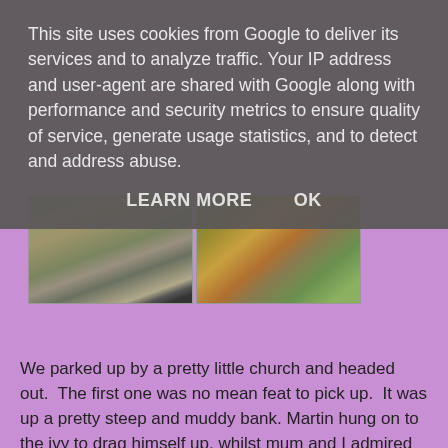This site uses cookies from Google to deliver its services and to analyze traffic. Your IP address and user-agent are shared with Google along with performance and security metrics to ensure quality of service, generate usage statistics, and to detect and address abuse.
LEARN MORE    OK
[Figure (photo): Two outdoor photos side by side: left shows person's legs/feet on a muddy path in woods; right shows large fungi/mushrooms on green mossy ground]
We parked up by a pretty little church and headed out.  The first one was no mean feat to pick up.  It was up a pretty steep and muddy bank. Martin hung on to the ivy to drag himself up, whilst mum and I admired the very impressive fungi close by.
[Figure (photo): Two outdoor photos side by side showing green leafy vegetation/hedgerows]